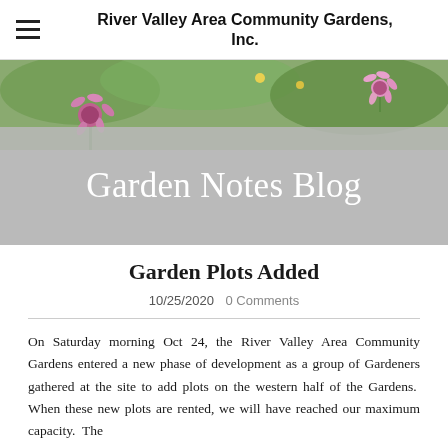River Valley Area Community Gardens, Inc.
Garden Notes Blog
Garden Plots Added
10/25/2020  0 Comments
On Saturday morning Oct 24, the River Valley Area Community Gardens entered a new phase of development as a group of Gardeners gathered at the site to add plots on the western half of the Gardens.  When these new plots are rented, we will have reached our maximum capacity.  The